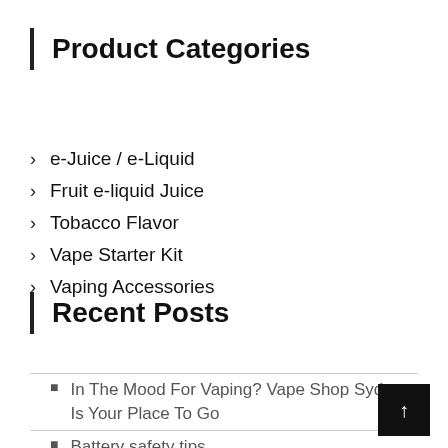Product Categories
e-Juice / e-Liquid
Fruit e-liquid Juice
Tobacco Flavor
Vape Starter Kit
Vaping Accessories
Recent Posts
In The Mood For Vaping? Vape Shop Sydney Is Your Place To Go
Battery safety tips